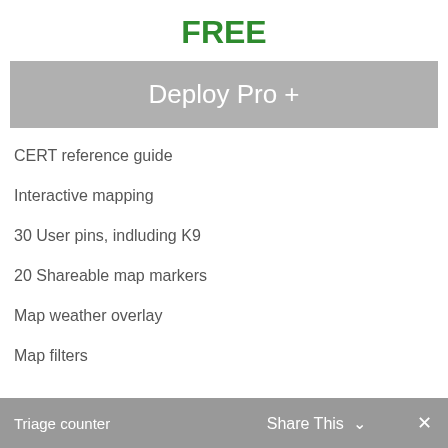FREE
Deploy Pro +
CERT reference guide
Interactive mapping
30 User pins, indluding K9
20 Shareable map markers
Map weather overlay
Map filters
Triage counter   Share This ∨   ×